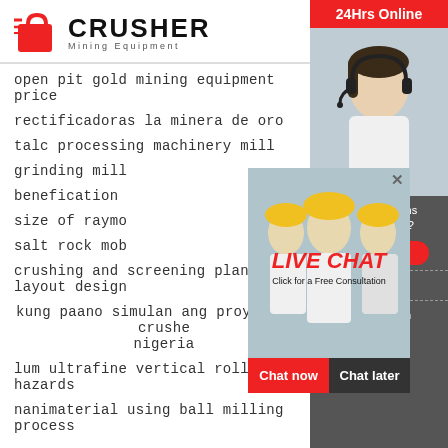[Figure (logo): CRUSHER Mining Equipment logo with red shopping bag icon and bold text]
open pit gold mining equipment price
rectificadoras la minera de oro
talc processing machinery mill
grinding mill
benefication
size of raymo
salt rock mob
crushing and screening plant layout design
kung paano simulan ang proyekto ng crusher nigeria
lum ultrafine vertical roller mill hazards
nanimaterial using ball milling process
[Figure (screenshot): Live chat popup overlay with workers photo, LIVE CHAT text in red, Click for a Free Consultation, Chat now and Chat later buttons]
[Figure (screenshot): Right sidebar with 24Hrs Online header in red, headset customer service photo, Need questions & suggestion text, Chat Now button, Enquiry section, limingjlmofen@sina.com email]